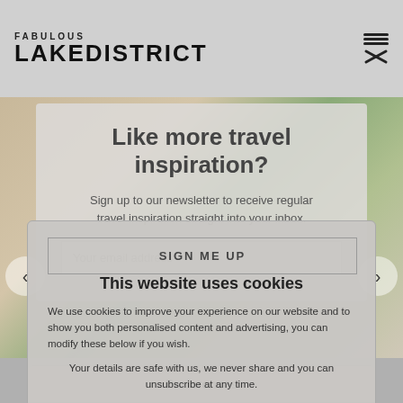FABULOUS LAKE DISTRICT
Like more travel inspiration?
Sign up to our newsletter to receive regular travel inspiration straight into your inbox.
Your email address
SIGN ME UP
This website uses cookies
We use cookies to improve your experience on our website and to show you both personalised content and advertising, you can modify these below if you wish.
Your details are safe with us, we never share and you can unsubscribe at any time.
Accept
Preferences